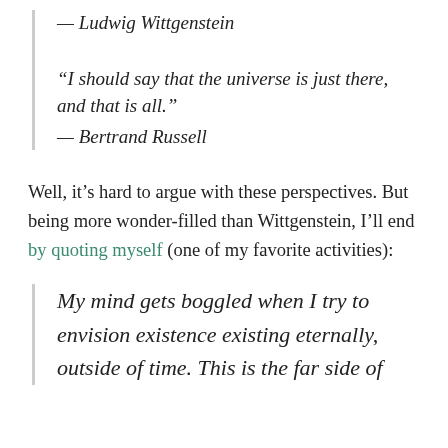— Ludwig Wittgenstein
“I should say that the universe is just there, and that is all.”
— Bertrand Russell
Well, it’s hard to argue with these perspectives. But being more wonder-filled than Wittgenstein, I’ll end by quoting myself (one of my favorite activities):
My mind gets boggled when I try to envision existence existing eternally, outside of time. This is the far side of